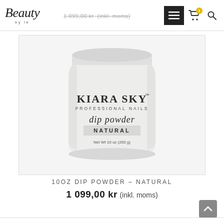Beauty by le – navigation header with menu, cart (1), search
1 099,00 kr  (inkl. moms)
[Figure (photo): White cylindrical jar of Kiara Sky Professional Nails Dip Powder Natural, Net Wt 10 oz (283 g), shown against white background]
10OZ DIP POWDER – NATURAL
1 099,00 kr  (inkl. moms)